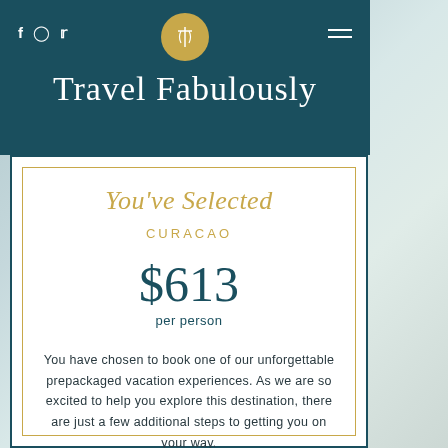Travel Fabulously
You've Selected
CURACAO
$613
per person
You have chosen to book one of our unforgettable prepackaged vacation experiences. As we are so excited to help you explore this destination, there are just a few additional steps to getting you on your way.